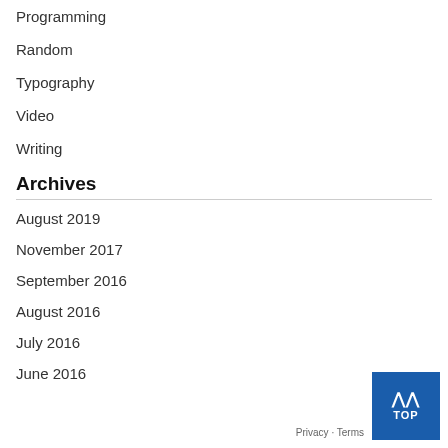Programming
Random
Typography
Video
Writing
Archives
August 2019
November 2017
September 2016
August 2016
July 2016
June 2016